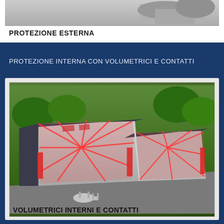[Figure (illustration): 3D illustration of a building exterior showing external protection sensors or coverage area, partial view at top of page]
PROTEZIONE ESTERNA
PROTEZIONE INTERNA CON VOLUMETRICI E CONTATTI
[Figure (illustration): 3D cutaway illustration of a house showing internal volumetric protection zones rendered in red radiating lines covering the interior rooms and spaces, with visible roof structure, walls, and garden surroundings]
VOLUMETRICI INTERNI E CONTATTI